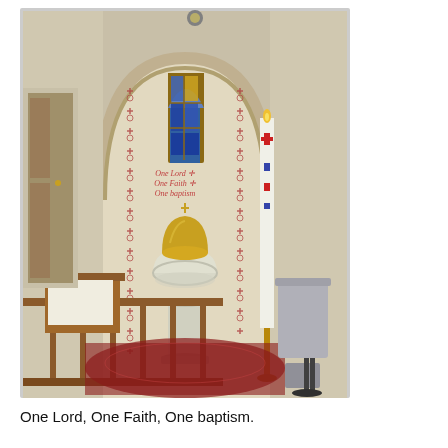[Figure (photo): Interior photo of a church baptistery showing a marble baptismal font with a golden domed lid on a pedestal, set within a white arched alcove. A tall paschal candle stands to the right on a brass stand. A small stained glass window with blue and yellow glass is visible in the upper background within a wooden frame. The walls display decorative red cross motifs in vertical columns. Wooden railings and a red patterned carpet are visible. Text on the wall reads 'One Lord, One Faith, One baptism.' A large steel vessel is visible in the lower right.]
One Lord, One Faith, One baptism.